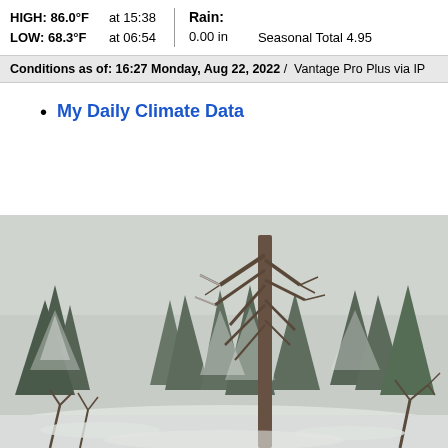HIGH: 86.0°F  at 15:38  Rain: 0.00 in  Seasonal Total 4.95  LOW: 68.3°F  at 06:54
Conditions as of: 16:27 Monday, Aug 22, 2022 / Vantage Pro Plus via IP
My Daily Climate Data
[Figure (photo): Winter snow scene with snow-covered trees including evergreen pines and bare deciduous trees in a forest setting with snowy ground]